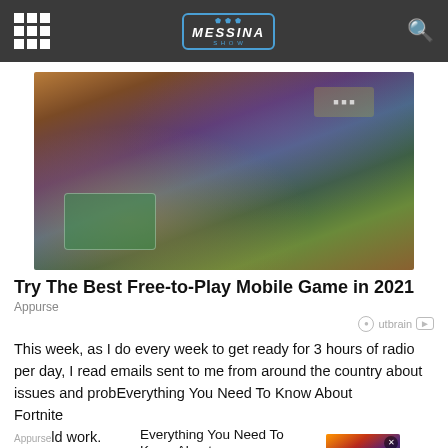Messina Show
[Figure (photo): Hands holding a smartphone horizontally playing a mobile game (appears to be Fortnite) with colorful game interface visible on screen]
Try The Best Free-to-Play Mobile Game in 2021
Appurse
Outbrain
This week, as I do every week to get ready for 3 hours of radio per day, I read emails sent to me from around the country about issues and prob[Everything You Need To Know About Fortnite - Appurse]ld work. Regularl[...]hing